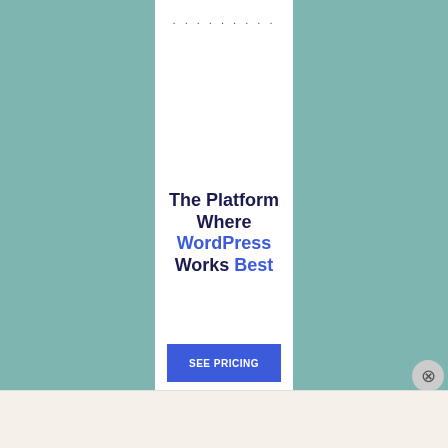[Figure (illustration): Advertisement banner with teal side panels and white center column. Dots at top, main headline text, and SEE PRICING button. WordPress.com ad.]
Advertisements
Professionally designed sites in less than a week